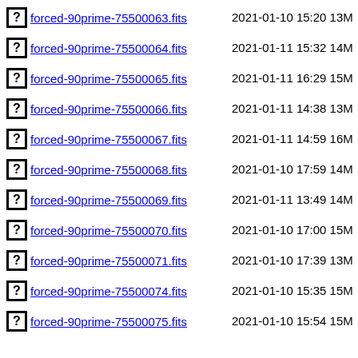forced-90prime-75500063.fits  2021-01-10 15:20  13M
forced-90prime-75500064.fits  2021-01-11 15:32  14M
forced-90prime-75500065.fits  2021-01-11 16:29  15M
forced-90prime-75500066.fits  2021-01-11 14:38  13M
forced-90prime-75500067.fits  2021-01-11 14:59  16M
forced-90prime-75500068.fits  2021-01-10 17:59  14M
forced-90prime-75500069.fits  2021-01-11 13:49  14M
forced-90prime-75500070.fits  2021-01-10 17:00  15M
forced-90prime-75500071.fits  2021-01-10 17:39  13M
forced-90prime-75500074.fits  2021-01-10 15:35  15M
forced-90prime-75500075.fits  2021-01-10 15:54  15M